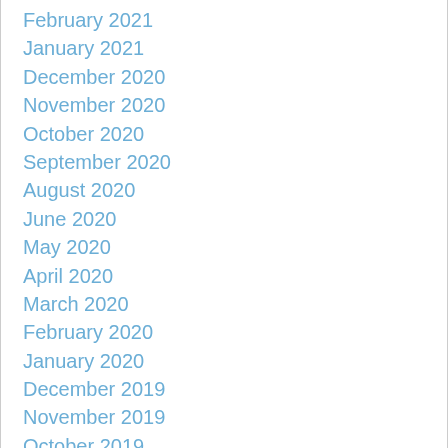February 2021
January 2021
December 2020
November 2020
October 2020
September 2020
August 2020
June 2020
May 2020
April 2020
March 2020
February 2020
January 2020
December 2019
November 2019
October 2019
September 2019
August 2019
July 2019